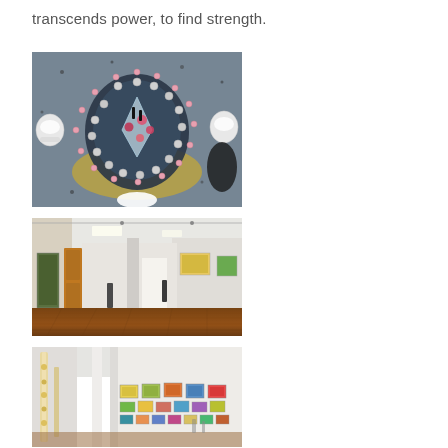transcends power, to find strength.
[Figure (photo): Aerial/overhead view of an elaborate mixed-media art installation featuring a central dark sculptural form surrounded by circular arrangements of beads, metallic balls, pink floral elements, and decorative objects on a textured background. White ceramic objects visible at the edges.]
[Figure (photo): Interior photograph of an art gallery with polished wooden floors, white walls, fluorescent ceiling lights, and artworks hung on walls. Wooden doors visible on the left side.]
[Figure (photo): Interior photograph of an art gallery with white walls lined with framed artworks/prints, fluorescent ceiling lights, white columns, and a wooden floor. Multiple artworks visible on the right wall.]